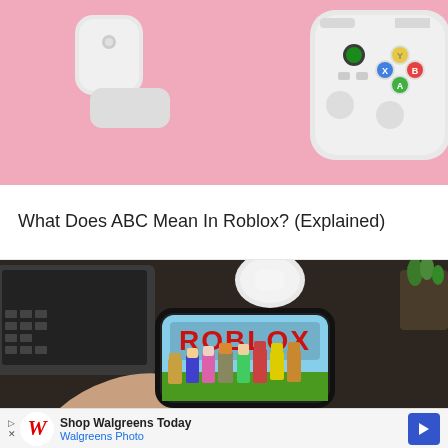[Figure (photo): Top-down flat lay photo showing wireless earbuds case, an Xbox controller, and possibly a tablet on a pink background]
What Does ABC Mean In Roblox? (Explained)
[Figure (photo): Photo of a hand holding a smartphone displaying the Roblox app logo and characters, with a laptop, AirPods case and earbuds, and a plant in the background on a dark surface]
[Figure (other): Advertisement bar: Shop Walgreens Today - Walgreens Photo, with Walgreens cursive W logo and a blue diamond arrow button]